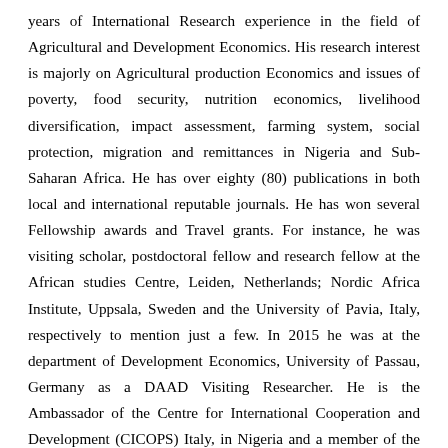years of International Research experience in the field of Agricultural and Development Economics. His research interest is majorly on Agricultural production Economics and issues of poverty, food security, nutrition economics, livelihood diversification, impact assessment, farming system, social protection, migration and remittances in Nigeria and Sub-Saharan Africa. He has over eighty (80) publications in both local and international reputable journals. He has won several Fellowship awards and Travel grants. For instance, he was visiting scholar, postdoctoral fellow and research fellow at the African studies Centre, Leiden, Netherlands; Nordic Africa Institute, Uppsala, Sweden and the University of Pavia, Italy, respectively to mention just a few. In 2015 he was at the department of Development Economics, University of Passau, Germany as a DAAD Visiting Researcher. He is the Ambassador of the Centre for International Cooperation and Development (CICOPS) Italy, in Nigeria and a member of the DAAD alumni network. He has